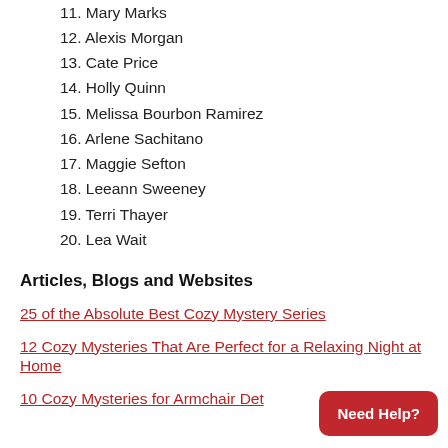11. Mary Marks
12. Alexis Morgan
13. Cate Price
14. Holly Quinn
15. Melissa Bourbon Ramirez
16. Arlene Sachitano
17. Maggie Sefton
18. Leeann Sweeney
19. Terri Thayer
20. Lea Wait
Articles, Blogs and Websites
25 of the Absolute Best Cozy Mystery Series
12 Cozy Mysteries That Are Perfect for a Relaxing Night at Home
10 Cozy Mysteries for Armchair Det…